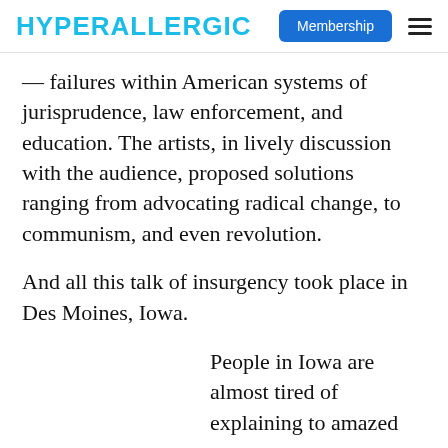HYPERALLERGIC | Membership
— failures within American systems of jurisprudence, law enforcement, and education. The artists, in lively discussion with the audience, proposed solutions ranging from advocating radical change, to communism, and even revolution.
And all this talk of insurgency took place in Des Moines, Iowa.
People in Iowa are almost tired of explaining to amazed